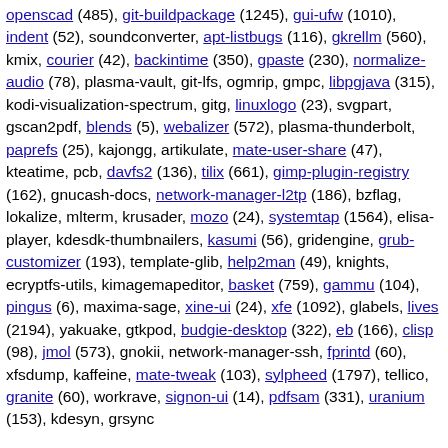openscad (485), git-buildpackage (1245), gui-ufw (1010), indent (52), soundconverter, apt-listbugs (116), gkrellm (560), kmix, courier (42), backintime (350), gpaste (230), normalize-audio (78), plasma-vault, git-lfs, ogmrip, gmpc, libpgjava (315), kodi-visualization-spectrum, gitg, linuxlogo (23), svgpart, gscan2pdf, blends (5), webalizer (572), plasma-thunderbolt, paprefs (25), kajongg, artikulate, mate-user-share (47), kteatime, pcb, davfs2 (136), tilix (661), gimp-plugin-registry (162), gnucash-docs, network-manager-l2tp (186), bzflag, lokalize, mlterm, krusader, mozo (24), systemtap (1564), elisa-player, kdesdk-thumbnailers, kasumi (56), gridengine, grub-customizer (193), template-glib, help2man (49), knights, ecryptfs-utils, kimagemapeditor, basket (759), gammu (104), pingus (6), maxima-sage, xine-ui (24), xfe (1092), glabels, lives (2194), yakuake, gtkpod, budgie-desktop (322), eb (166), clisp (98), jmol (573), gnokii, network-manager-ssh, fprintd (60), xfsdump, kaffeine, mate-tweak (103), sylpheed (1797), tellico, granite (60), workrave, signon-ui (14), pdfsam (331), uranium (153), kdesyn, grsync